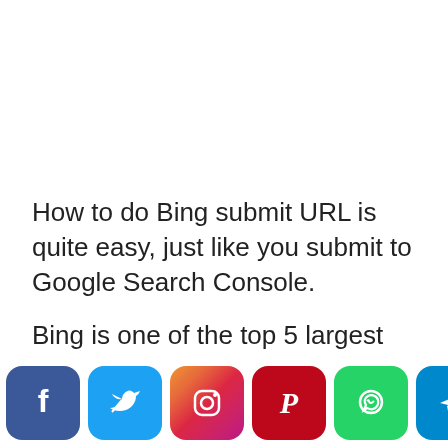How to do Bing submit URL is quite easy, just like you submit to Google Search Console.
Bing is one of the top 5 largest search engines in the world besides Google, so it is very important to submit your blog to Bing Webmaster Tools.
[Figure (infographic): Social media sharing icons bar: Facebook, Twitter, Instagram, Pinterest, WhatsApp, Telegram, Email, Share]